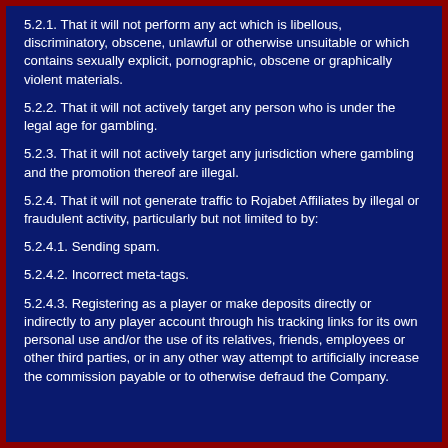5.2.1. That it will not perform any act which is libellous, discriminatory, obscene, unlawful or otherwise unsuitable or which contains sexually explicit, pornographic, obscene or graphically violent materials.
5.2.2. That it will not actively target any person who is under the legal age for gambling.
5.2.3. That it will not actively target any jurisdiction where gambling and the promotion thereof are illegal.
5.2.4. That it will not generate traffic to Rojabet Affiliates by illegal or fraudulent activity, particularly but not limited to by:
5.2.4.1. Sending spam.
5.2.4.2. Incorrect meta-tags.
5.2.4.3. Registering as a player or make deposits directly or indirectly to any player account through his tracking links for its own personal use and/or the use of its relatives, friends, employees or other third parties, or in any other way attempt to artificially increase the commission payable or to otherwise defraud the Company.